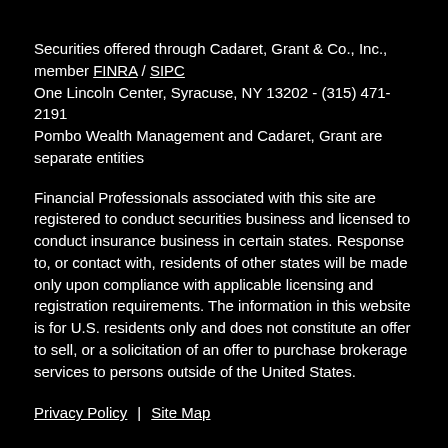Securities offered through Cadaret, Grant & Co., Inc., member FINRA / SIPC
One Lincoln Center, Syracuse, NY 13202 - (315) 471-2191
Pombo Wealth Management and Cadaret, Grant are separate entities
Financial Professionals associated with this site are registered to conduct securities business and licensed to conduct insurance business in certain states. Response to, or contact with, residents of other states will be made only upon compliance with applicable licensing and registration requirements. The information in this website is for U.S. residents only and does not constitute an offer to sell, or a solicitation of an offer to purchase brokerage services to persons outside of the United States.
Privacy Policy  |  Site Map